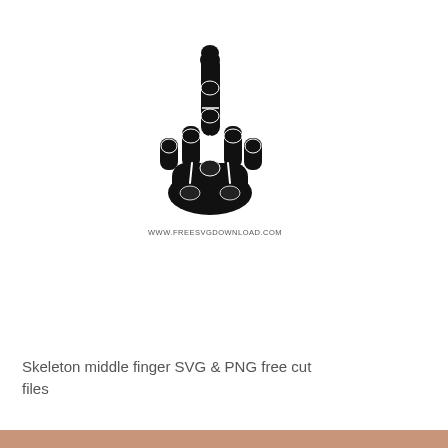[Figure (illustration): Black silhouette illustration of a skeleton hand making a middle finger gesture, viewed from the dorsal side, showing stylized bone shapes.]
WWW.FREESVGDOWNLOAD.COM
Skeleton middle finger SVG & PNG free cut files